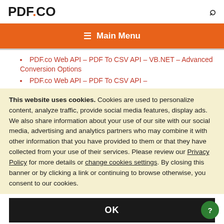PDF.CO
☰ Main Menu
PDF.co Web API – PDF To CSV API – VB.NET – Advanced Conversion Options
PDF.co Web API – PDF To CSV API –
This website uses cookies. Cookies are used to personalize content, analyze traffic, provide social media features, display ads. We also share information about your use of our site with our social media, advertising and analytics partners who may combine it with other information that you have provided to them or that they have collected from your use of their services. Please review our Privacy Policy for more details or change cookies settings. By closing this banner or by clicking a link or continuing to browse otherwise, you consent to our cookies.
OK